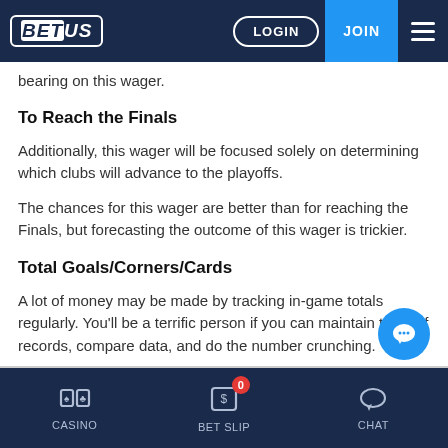BET US | LOGIN | JOIN
bearing on this wager.
To Reach the Finals
Additionally, this wager will be focused solely on determining which clubs will advance to the playoffs.
The chances for this wager are better than for reaching the Finals, but forecasting the outcome of this wager is trickier.
Total Goals/Corners/Cards
A lot of money may be made by tracking in-game totals regularly. You'll be a terrific person if you can maintain track of records, compare data, and do the number crunching.
These are some of the most famous soccer props since t
CASINO | BET SLIP 0 | CHAT